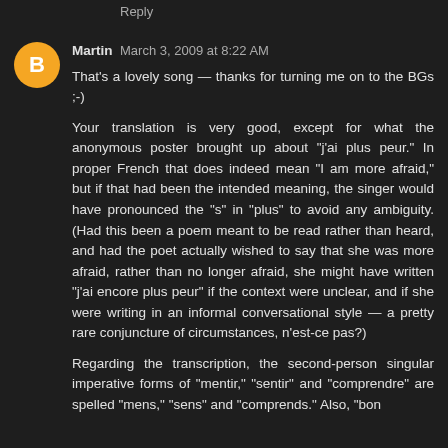Reply
Martin  March 3, 2009 at 8:22 AM
That's a lovely song — thanks for turning me on to the BGs ;-)
Your translation is very good, except for what the anonymous poster brought up about "j'ai plus peur." In proper French that does indeed mean "I am more afraid," but if that had been the intended meaning, the singer would have pronounced the "s" in "plus" to avoid any ambiguity. (Had this been a poem meant to be read rather than heard, and had the poet actually wished to say that she was more afraid, rather than no longer afraid, she might have written "j'ai encore plus peur" if the context were unclear, and if she were writing in an informal conversational style — a pretty rare conjuncture of circumstances, n'est-ce pas?)

Regarding the transcription, the second-person singular imperative forms of "mentir," "sentir" and "comprendre" are spelled "mens," "sens" and "comprends." Also, "bon